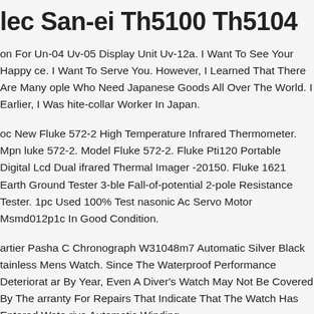lec San-ei Th5100 Th5104
on For Un-04 Uv-05 Display Unit Uv-12a. I Want To See Your Happy ce. I Want To Serve You. However, I Learned That There Are Many ople Who Need Japanese Goods All Over The World. I Earlier, I Was hite-collar Worker In Japan.
oc New Fluke 572-2 High Temperature Infrared Thermometer. Mpn luke 572-2. Model Fluke 572-2. Fluke Pti120 Portable Digital Lcd Dual ifrared Thermal Imager -20150. Fluke 1621 Earth Ground Tester 3-ble Fall-of-potential 2-pole Resistance Tester. 1pc Used 100% Test nasonic Ac Servo Motor Msmd012p1c In Good Condition.
artier Pasha C Chronograph W31048m7 Automatic Silver Black tainless Mens Watch. Since The Waterproof Performance Deteriorates ar By Year, Even A Diver's Watch May Not Be Covered By The arranty For Repairs That Indicate That The Watch Has Entered Water. rive Automatic Winding.